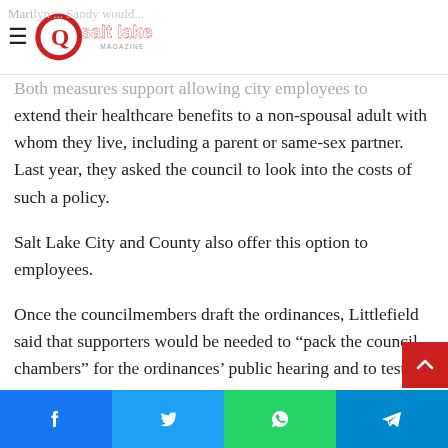Q Salt Lake Magazine
Both measures support allowing city employees to extend their healthcare benefits to a non-spousal adult with whom they live, including a parent or same-sex partner. Last year, they asked the council to look into the costs of such a policy.
Salt Lake City and County also offer this option to employees.
Once the councilmembers draft the ordinances, Littlefield said that supporters would be needed to “pack the council chambers” for the ordinances’ public hearing and to testify “even if you just go in to say, ‘Hi, I live in Sandy and I think this would be awesome.’”
Social share bar: Facebook, Twitter, WhatsApp, Telegram